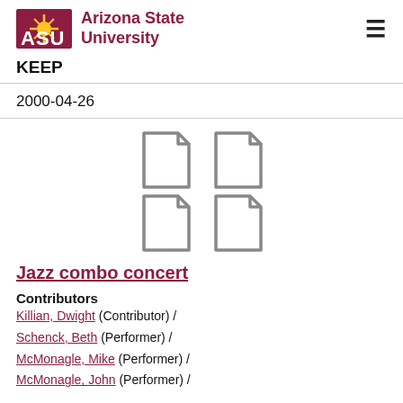ASU Arizona State University
KEEP
2000-04-26
[Figure (illustration): Four document/file icons arranged in a 2x2 grid, shown in gray outline style]
Jazz combo concert
Contributors
Killian, Dwight (Contributor) /
Schenck, Beth (Performer) /
McMonagle, Mike (Performer) /
McMonagle, John (Performer) /